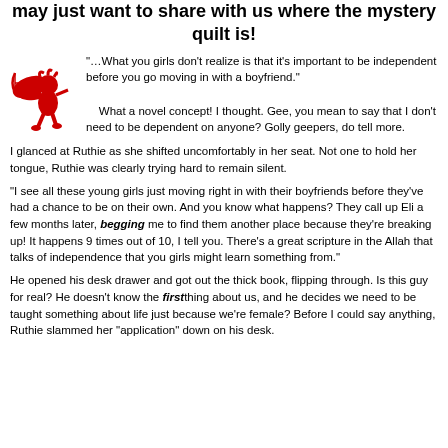may just want to share with us where the mystery quilt is!
[Figure (illustration): Red cupid/cherub illustration with bow and arrow, facing right]
"…What you girls don't realize is that it's important to be independent before you go moving in with a boyfriend."
What a novel concept! I thought. Gee, you mean to say that I don't need to be dependent on anyone? Golly geepers, do tell more.
I glanced at Ruthie as she shifted uncomfortably in her seat. Not one to hold her tongue, Ruthie was clearly trying hard to remain silent.
"I see all these young girls just moving right in with their boyfriends before they've had a chance to be on their own. And you know what happens? They call up Eli a few months later, begging me to find them another place because they're breaking up! It happens 9 times out of 10, I tell you. There's a great scripture in the Allah that talks of independence that you girls might learn something from."
He opened his desk drawer and got out the thick book, flipping through. Is this guy for real? He doesn't know the first thing about us, and he decides we need to be taught something about life just because we're female? Before I could say anything, Ruthie slammed her "application" down on his desk.